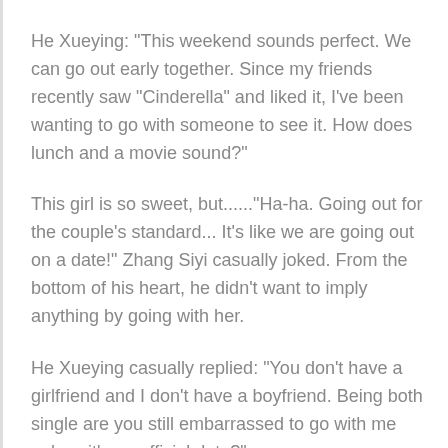He Xueying: "This weekend sounds perfect. We can go out early together. Since my friends recently saw "Cinderella" and liked it, I've been wanting to go with someone to see it. How does lunch and a movie sound?"
This girl is so sweet, but......"Ha-ha. Going out for the couple's standard... It's like we are going out on a date!" Zhang Siyi casually joked. From the bottom of his heart, he didn't want to imply anything by going with her.
He Xueying casually replied: "You don't have a girlfriend and I don't have a boyfriend. Being both single are you still embarrassed to go with me unless it's an official date?"